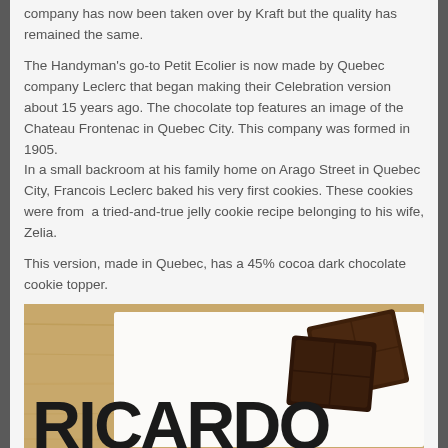company has now been taken over by Kraft but the quality has remained the same.
The Handyman's go-to Petit Ecolier is now made by Quebec company Leclerc that began making their Celebration version about 15 years ago. The chocolate top features an image of the Chateau Frontenac in Quebec City. This company was formed in 1905.
In a small backroom at his family home on Arago Street in Quebec City, Francois Leclerc baked his very first cookies. These cookies were from  a tried-and-true jelly cookie recipe belonging to his wife, Zelia.
This version, made in Quebec, has a 45% cocoa dark chocolate cookie topper.
[Figure (photo): Photo of a RICARDO branded chocolate cookie box on a wooden surface, showing large black RICARDO text and dark chocolate cookies]